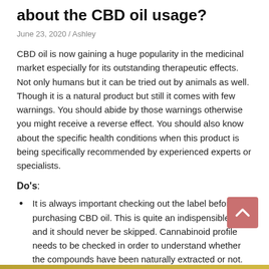about the CBD oil usage?
June 23, 2020 / Ashley
CBD oil is now gaining a huge popularity in the medicinal market especially for its outstanding therapeutic effects. Not only humans but it can be tried out by animals as well. Though it is a natural product but still it comes with few warnings. You should abide by those warnings otherwise you might receive a reverse effect. You should also know about the specific health conditions when this product is being specifically recommended by experienced experts or specialists.
Do's:
It is always important checking out the label before purchasing CBD oil. This is quite an indispensible step and it should never be skipped. Cannabinoid profile needs to be checked in order to understand whether the compounds have been naturally extracted or not.